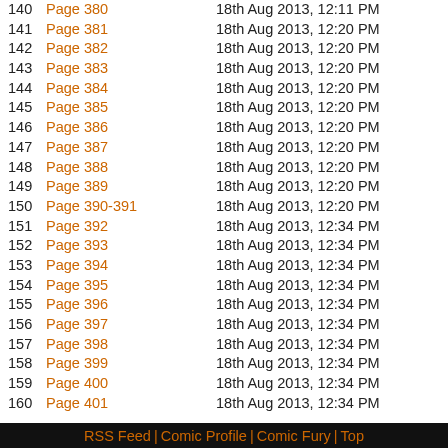140  Page 380  18th Aug 2013, 12:11 PM
141  Page 381  18th Aug 2013, 12:20 PM
142  Page 382  18th Aug 2013, 12:20 PM
143  Page 383  18th Aug 2013, 12:20 PM
144  Page 384  18th Aug 2013, 12:20 PM
145  Page 385  18th Aug 2013, 12:20 PM
146  Page 386  18th Aug 2013, 12:20 PM
147  Page 387  18th Aug 2013, 12:20 PM
148  Page 388  18th Aug 2013, 12:20 PM
149  Page 389  18th Aug 2013, 12:20 PM
150  Page 390-391  18th Aug 2013, 12:20 PM
151  Page 392  18th Aug 2013, 12:34 PM
152  Page 393  18th Aug 2013, 12:34 PM
153  Page 394  18th Aug 2013, 12:34 PM
154  Page 395  18th Aug 2013, 12:34 PM
155  Page 396  18th Aug 2013, 12:34 PM
156  Page 397  18th Aug 2013, 12:34 PM
157  Page 398  18th Aug 2013, 12:34 PM
158  Page 399  18th Aug 2013, 12:34 PM
159  Page 400  18th Aug 2013, 12:34 PM
160  Page 401  18th Aug 2013, 12:34 PM
RSS Feed | Comic Profile | Comic Fury | Top